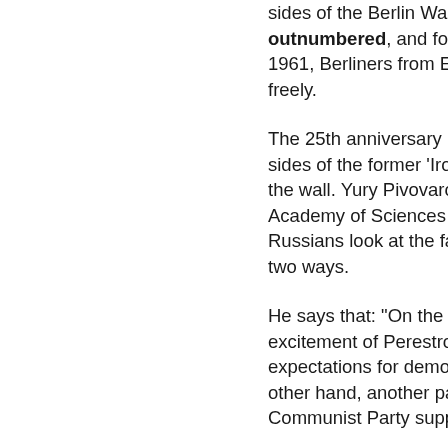sides of the Berlin Wall. Border guards were outnumbered, and for the first time since 1961, Berliners from East and West mixed freely.
The 25th anniversary has led people on both sides of the former 'Iron Curtain' to remember the wall. Yury Pivovarov is with the Russian Academy of Sciences in Moscow. He says Russians look at the fall of the Berlin Wall in two ways.
He says that: "On the one hand, there was the excitement of Perestroika and huge expectations for democratic reforms. On the other hand, another part of the population, Communist Party supporters, regretted it